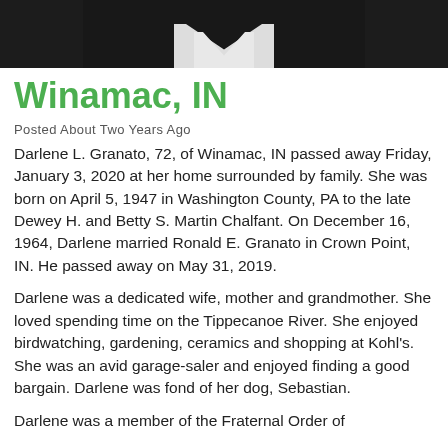[Figure (photo): Partial photo showing bottom portion of a dark jacket with white collar/shirt visible at the bottom edge]
Winamac, IN
Posted About Two Years Ago
Darlene L. Granato, 72, of Winamac, IN passed away Friday, January 3, 2020 at her home surrounded by family.  She was born on April 5, 1947 in Washington County, PA to the late Dewey H. and Betty S. Martin Chalfant.   On December 16, 1964, Darlene married Ronald E. Granato in Crown Point, IN.  He passed away on May 31, 2019.
Darlene was a dedicated wife, mother and grandmother.  She loved spending time on the Tippecanoe River.  She enjoyed birdwatching, gardening, ceramics and shopping at Kohl's.   She was an avid garage-saler and enjoyed finding a good bargain.  Darlene was fond of her dog, Sebastian.
Darlene was a member of the Fraternal Order of